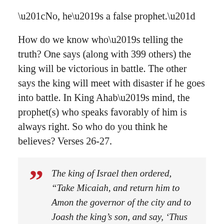“No, he’s a false prophet.”
How do we know who’s telling the truth? One says (along with 399 others) the king will be victorious in battle. The other says the king will meet with disaster if he goes into battle. In King Ahab’s mind, the prophet(s) who speaks favorably of him is always right. So who do you think he believes? Verses 26-27.
The king of Israel then ordered, “Take Micaiah, and return him to Amon the governor of the city and to Joash the king’s son, and say, ‘Thus says the king: Put this fellow in prison, and feed him on reduced rations of bread